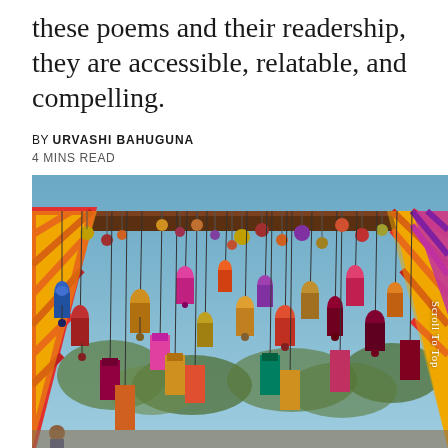these poems and their readership, they are accessible, relatable, and compelling.
BY URVASHI BAHUGUNA
4 MINS READ
[Figure (photo): Colorful hanging decorations at what appears to be an Indian cultural festival or market, with brightly colored fabrics, ornamental balls, and miniature cloth dolls hanging from a wooden beam structure. Striped yellow, orange, pink, and purple fabric panels are visible in the background. Blue sky and trees visible in the background.]